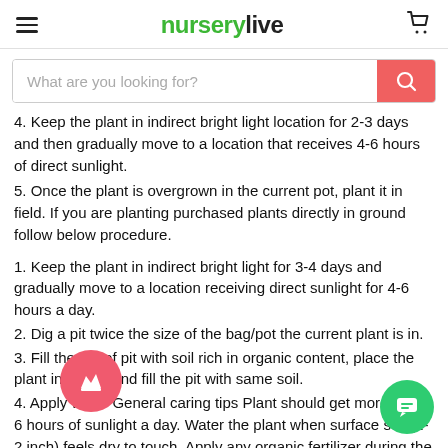nurserylive
4. Keep the plant in indirect bright light location for 2-3 days and then gradually move to a location that receives 4-6 hours of direct sunlight.
5. Once the plant is overgrown in the current pot, plant it in field. If you are planting purchased plants directly in ground follow below procedure.
1. Keep the plant in indirect bright light for 3-4 days and gradually move to a location receiving direct sunlight for 4-6 hours a day.
2. Dig a pit twice the size of the bag/pot the current plant is in.
3. Fill the 1/3 of pit with soil rich in organic content, place the plant in center and fill the pit with same soil.
4. Apply water General caring tips Plant should get more than 6 hours of sunlight a day. Water the plant when surface soil (1-2 inch) feels dry to touch. Apply any organic fertilizer during the main growing months season(July-October).
What is thunbergia plant?